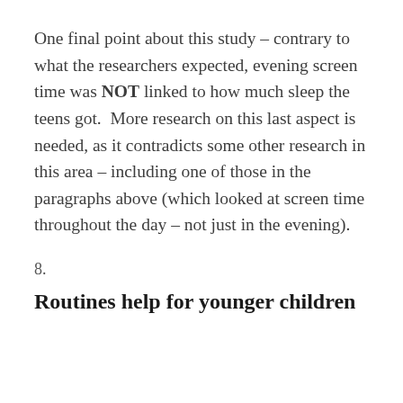One final point about this study – contrary to what the researchers expected, evening screen time was NOT linked to how much sleep the teens got.  More research on this last aspect is needed, as it contradicts some other research in this area – including one of those in the paragraphs above (which looked at screen time throughout the day – not just in the evening).
8.
Routines help for younger children